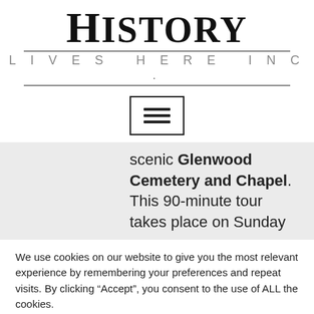HISTORY
LIVES HERE INC.
[Figure (other): Hamburger menu icon — three horizontal bars inside a bordered rectangle]
scenic Glenwood Cemetery and Chapel. This 90-minute tour takes place on Sunday
We use cookies on our website to give you the most relevant experience by remembering your preferences and repeat visits. By clicking “Accept”, you consent to the use of ALL the cookies.
Cookie settings
ACCEPT